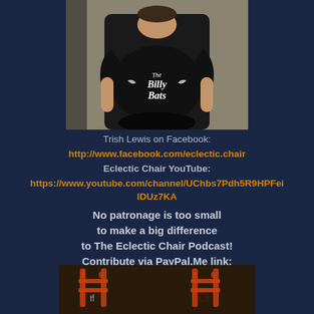[Figure (photo): Person wearing a black t-shirt with 'The Billy Bats' logo, standing in front of wooden boards]
Trish Lewis on Facebook:
http://www.facebook.com/eclectic.chair
Eclectic Chair YouTube:
https://www.youtube.com/channel/UChbs7Pdh5R9HPFeiIDUz7KA
No patronage is too small to make a big difference to The Eclectic Chair Podcast! Contribute via PayPal.Me link:
https://www.paypal.me/RadioChair
[Figure (photo): Two red painted wooden chairs with decorative motifs on a dark background]